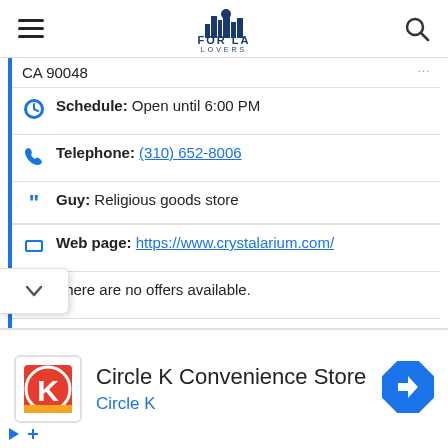FOR LA LOVERS
CA 90048
Schedule: Open until 6:00 PM
Telephone: (310) 652-8006
Guy: Religious goods store
Web page: https://www.crystalarium.com/
There are no offers available.
Near Crystalarium:
a 29 meters away cheap managers: Elite Model
Circle K Convenience Store
Circle K